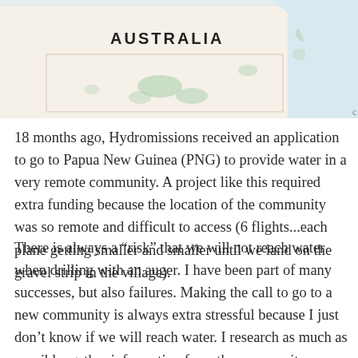[Figure (map): Partial map showing Australia label in bold and surrounding region including what appears to be Papua New Guinea area. Beige/cream land color with light green patches, light blue water.]
18 months ago, Hydromissions received an application to go to Papua New Guinea (PNG) to provide water in a very remote community. A project like this required extra funding because the location of the community was so remote and difficult to access (6 flights...each plane getting smaller and smaller until we land on the gravel strip in the village).
There is always a “risk” that we will not reach water when drilling with an auger. I have been part of many successes, but also failures. Making the call to go to a new community is always extra stressful because I just don’t know if we will reach water. I research as much as possible, gather information from the community members, talk to as many people as possible, but at the end of the day, only God knows if we will reach water. I